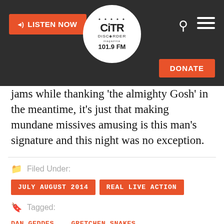CiTR Discorder 101.9 FM — LISTEN NOW | DONATE
jams while thanking 'the almighty Gosh' in the meantime, it's just that making mundane missives amusing is this man's signature and this night was no exception.
Filed Under:
JULY AUGUST 2014
REAL LIVE ACTION
Tagged:
DAN GEDDES,
GRETCHEN SNAKES,
HORSES RECORDS,
JORDAN MINKOFF,
KATAYOON YOUSEFBIGLOO,